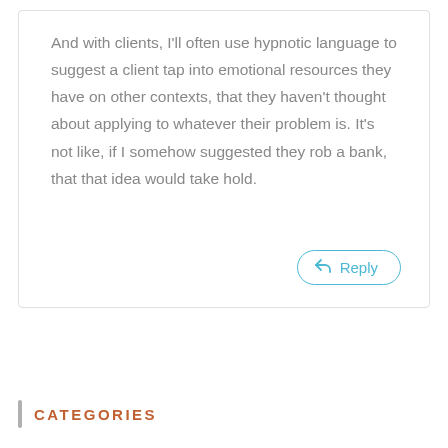And with clients, I'll often use hypnotic language to suggest a client tap into emotional resources they have on other contexts, that they haven't thought about applying to whatever their problem is. It's not like, if I somehow suggested they rob a bank, that that idea would take hold.
CATEGORIES